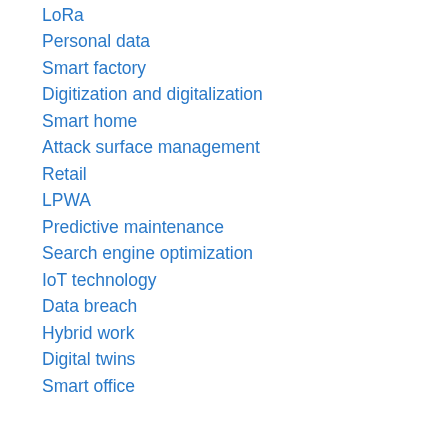LoRa
Personal data
Smart factory
Digitization and digitalization
Smart home
Attack surface management
Retail
LPWA
Predictive maintenance
Search engine optimization
IoT technology
Data breach
Hybrid work
Digital twins
Smart office